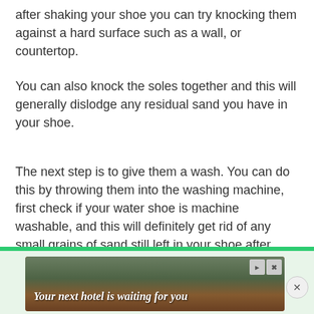after shaking your shoe you can try knocking them against a hard surface such as a wall, or countertop.
You can also knock the soles together and this will generally dislodge any residual sand you have in your shoe.
The next step is to give them a wash. You can do this by throwing them into the washing machine, first check if your water shoe is machine washable, and this will definitely get rid of any small grains of sand still left in your shoe after shaking them out. Another great trick to removing sand from your shoes is to use a vacuum to suck it away.
[Figure (screenshot): Advertisement banner: 'Your next hotel is waiting for you' with hotel/landscape background image, close button, and green strip at top]